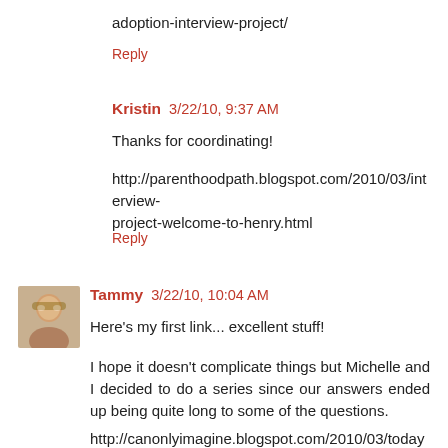adoption-interview-project/
Reply
Kristin 3/22/10, 9:37 AM
Thanks for coordinating!
http://parenthoodpath.blogspot.com/2010/03/interview-project-welcome-to-henry.html
Reply
Tammy 3/22/10, 10:04 AM
Here's my first link... excellent stuff!
I hope it doesn't complicate things but Michelle and I decided to do a series since our answers ended up being quite long to some of the questions.
http://canonlyimagine.blogspot.com/2010/03/todays-day-